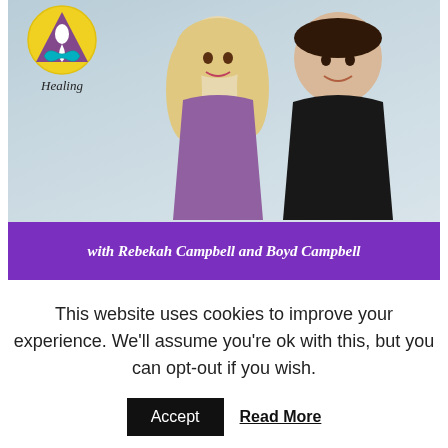[Figure (photo): Photo of Rebekah Campbell and Boyd Campbell with a healing logo (yellow circle, purple triangle, teal infinity symbol) in the top-left, and a purple banner at the bottom reading 'with Rebekah Campbell and Boyd Campbell']
Coming up on December 19, 2016: So much of our
This website uses cookies to improve your experience. We'll assume you're ok with this, but you can opt-out if you wish.
Accept
Read More